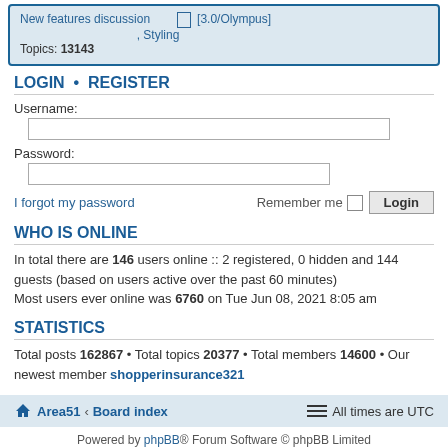New features discussion  [3.0/Olympus] , Styling  Topics: 13143
LOGIN • REGISTER
Username:
Password:
I forgot my password    Remember me  [checkbox]  Login
WHO IS ONLINE
In total there are 146 users online :: 2 registered, 0 hidden and 144 guests (based on users active over the past 60 minutes)
Most users ever online was 6760 on Tue Jun 08, 2021 8:05 am
STATISTICS
Total posts 162867 • Total topics 20377 • Total members 14600 • Our newest member shopperinsurance321
🏠 Area51 ‹ Board index    ≡  All times are UTC
Powered by phpBB® Forum Software © phpBB Limited
Privacy | Terms